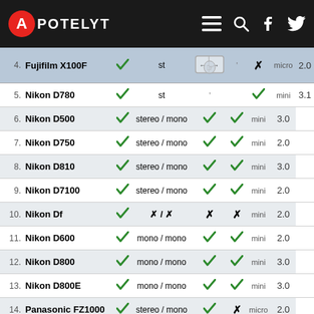APOTELYT
| # | Camera | Check1 | Audio | Check2 | Check3 | Type | Score |
| --- | --- | --- | --- | --- | --- | --- | --- |
| 4. | Fujifilm X100F | ✓ | st | ←→ | ✗ | micro | 2.0 |
| 5. | Nikon D780 | ✓ | st |  | ✓ | mini | 3.1 |
| 6. | Nikon D500 | ✓ | stereo / mono | ✓ | ✓ | mini | 3.0 |
| 7. | Nikon D750 | ✓ | stereo / mono | ✓ | ✓ | mini | 2.0 |
| 8. | Nikon D810 | ✓ | stereo / mono | ✓ | ✓ | mini | 3.0 |
| 9. | Nikon D7100 | ✓ | stereo / mono | ✓ | ✓ | mini | 2.0 |
| 10. | Nikon Df | ✓ | ✗ / ✗ | ✗ | ✗ | mini | 2.0 |
| 11. | Nikon D600 | ✓ | mono / mono | ✓ | ✓ | mini | 2.0 |
| 12. | Nikon D800 | ✓ | mono / mono | ✓ | ✓ | mini | 3.0 |
| 13. | Nikon D800E | ✓ | mono / mono | ✓ | ✓ | mini | 3.0 |
| 14. | Panasonic FZ1000 | ✓ | stereo / mono | ✓ | ✗ | micro | 2.0 |
| 15. | Sony RX100 V | ✗ | stereo / mono | ✗ | ✗ | micro | 2.0 |